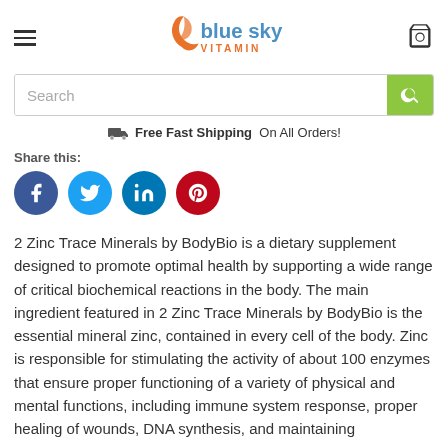Blue Sky Vitamin
Free Fast Shipping On All Orders!
Share this:
[Figure (other): Social sharing icons: Facebook, Twitter, LinkedIn, Pinterest]
2 Zinc Trace Minerals by BodyBio is a dietary supplement designed to promote optimal health by supporting a wide range of critical biochemical reactions in the body. The main ingredient featured in 2 Zinc Trace Minerals by BodyBio is the essential mineral zinc, contained in every cell of the body. Zinc is responsible for stimulating the activity of about 100 enzymes that ensure proper functioning of a variety of physical and mental functions, including immune system response, proper healing of wounds, DNA synthesis, and maintaining